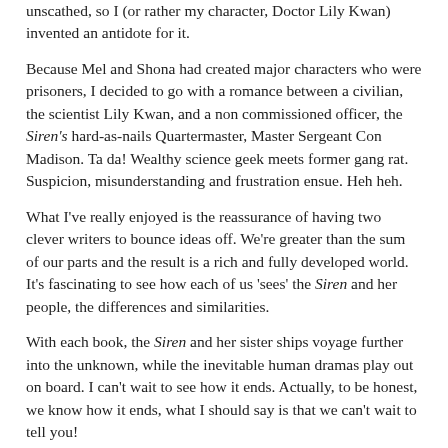unscathed, so I (or rather my character, Doctor Lily Kwan) invented an antidote for it.
Because Mel and Shona had created major characters who were prisoners, I decided to go with a romance between a civilian, the scientist Lily Kwan, and a non commissioned officer, the Siren's hard-as-nails Quartermaster, Master Sergeant Con Madison. Ta da! Wealthy science geek meets former gang rat. Suspicion, misunderstanding and frustration ensue. Heh heh.
What I've really enjoyed is the reassurance of having two clever writers to bounce ideas off. We're greater than the sum of our parts and the result is a rich and fully developed world. It's fascinating to see how each of us 'sees' the Siren and her people, the differences and similarities.
With each book, the Siren and her sister ships voyage further into the unknown, while the inevitable human dramas play out on board. I can't wait to see how it ends. Actually, to be honest, we know how it ends, what I should say is that we can't wait to tell you!